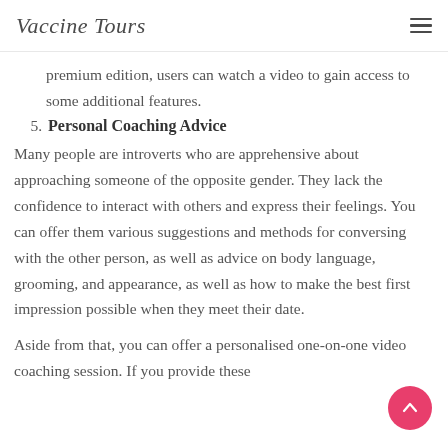Vaccine Tours
premium edition, users can watch a video to gain access to some additional features.
5. Personal Coaching Advice
Many people are introverts who are apprehensive about approaching someone of the opposite gender. They lack the confidence to interact with others and express their feelings. You can offer them various suggestions and methods for conversing with the other person, as well as advice on body language, grooming, and appearance, as well as how to make the best first impression possible when they meet their date.
Aside from that, you can offer a personalised one-on-one video coaching session. If you provide these